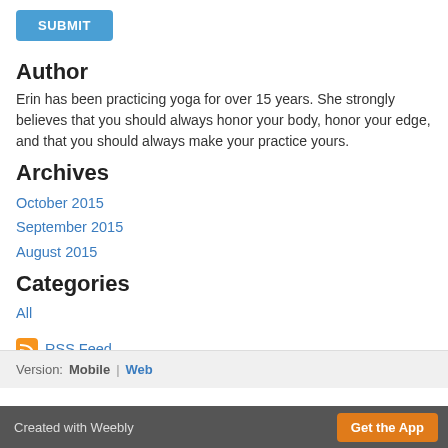[Figure (other): Blue SUBMIT button]
Author
Erin has been practicing yoga for over 15 years. She strongly believes that you should always honor your body, honor your edge, and that you should always make your practice yours.
Archives
October 2015
September 2015
August 2015
Categories
All
[Figure (other): RSS Feed icon with link]
Version: Mobile | Web
Created with Weebly   Get the App